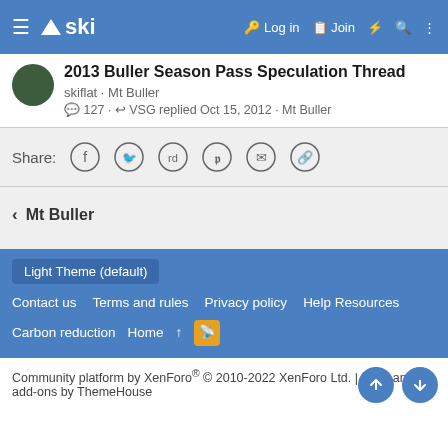≡ ski  🔑 Log in  🗒 Join  ⚡ 🔍 ⋮
2013 Buller Season Pass Speculation Thread
skiflat · Mt Buller
💬 127 · ↩ VSG replied Oct 15, 2012 · Mt Buller
Share:
< Mt Buller
Light Theme (default)
Contact us  Terms and rules  Privacy policy  Help Resources  Carbon reduction  Home  ↑  RSS
Community platform by XenForo® © 2010-2022 XenForo Ltd. | Style and add-ons by ThemeHouse